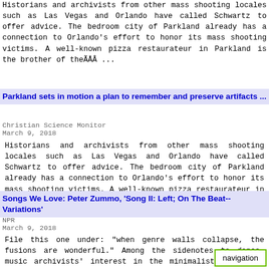Historians and archivists from other mass shooting locales such as Las Vegas and Orlando have called Schwartz to offer advice. The bedroom city of Parkland already has a connection to Orlando's effort to honor its mass shooting victims. A well-known pizza restaurateur in Parkland is the brother of theÃĀÂ ...
Parkland sets in motion a plan to remember and preserve artifacts ...
Christian Science Monitor
March 9, 2018
Historians and archivists from other mass shooting locales such as Las Vegas and Orlando have called Schwartz to offer advice. The bedroom city of Parkland already has a connection to Orlando's effort to honor its mass shooting victims. A well-known pizza restaurateur in Parkland is the brother of theÃĀÂ ...
Songs We Love: Peter Zummo, 'Song II: Left; On The Beat-- Variations'
NPR
March 9, 2018
File this one under: "when genre walls collapse, the fusions are wonderful." Among the sidenotes to dance-music archivists' interest in the minimalist sounds of New York's 1970s and '80s downtown cult figures such as Arthur Russell and Julius Eastman, is how it's br... f their colleagues,ÃĀÂ ...
navigation